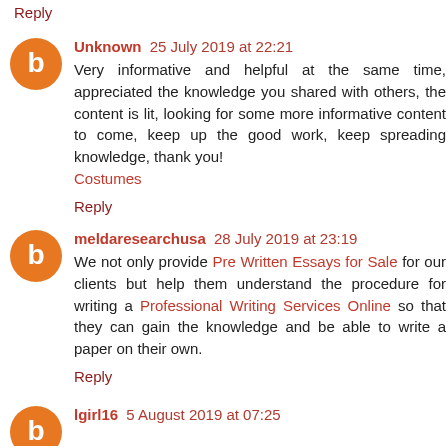Reply
Unknown 25 July 2019 at 22:21
Very informative and helpful at the same time, appreciated the knowledge you shared with others, the content is lit, looking for some more informative content to come, keep up the good work, keep spreading knowledge, thank you!
Costumes
Reply
meldaresearchusa 28 July 2019 at 23:19
We not only provide Pre Written Essays for Sale for our clients but help them understand the procedure for writing a Professional Writing Services Online so that they can gain the knowledge and be able to write a paper on their own.
Reply
lgirl16 5 August 2019 at 07:25